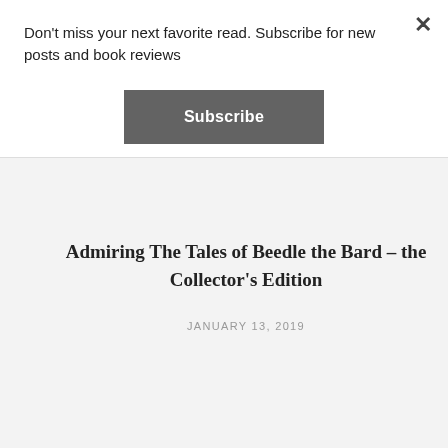Don't miss your next favorite read. Subscribe for new posts and book reviews
Subscribe
Admiring The Tales of Beedle the Bard – the Collector's Edition
JANUARY 13, 2019